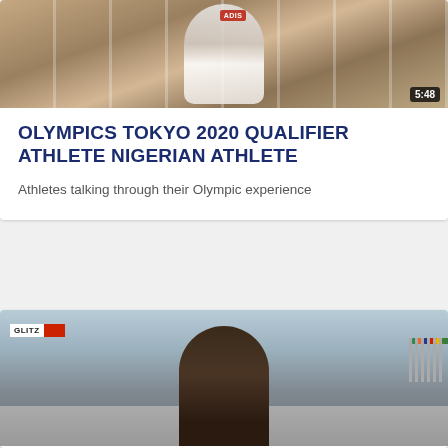[Figure (screenshot): Video thumbnail showing an athlete at what appears to be the Tokyo 2020 Olympics venue, with turnstile barriers in the background. Duration badge shows 5:48.]
OLYMPICS TOKYO 2020 QUALIFIER ATHLETE NIGERIAN ATHLETE
Athletes talking through their Olympic experience
[Figure (screenshot): Video thumbnail showing a man standing on a road at what appears to be the Tokyo Olympics venue, with flags and buildings in the background. GLITZ logo visible in top left.]